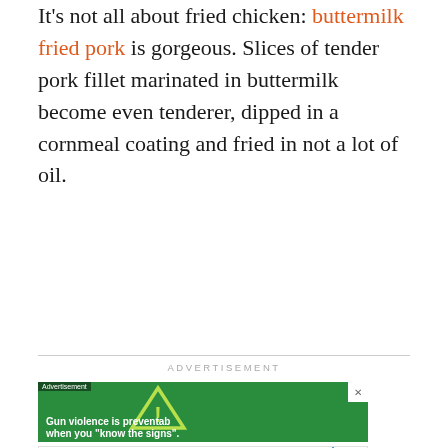It's not all about fried chicken: buttermilk fried pork is gorgeous. Slices of tender pork fillet marinated in buttermilk become even tenderer, dipped in a cornmeal coating and fried in not a lot of oil.
[Figure (screenshot): Advertisement banner with green background showing a caution triangle with exclamation mark and text 'Gun violence is preventable when you know the signs.' with a 'What's Next' overlay showing chestnut and mushroom thumbnail. Below is a True Food Kitchen ad banner.]